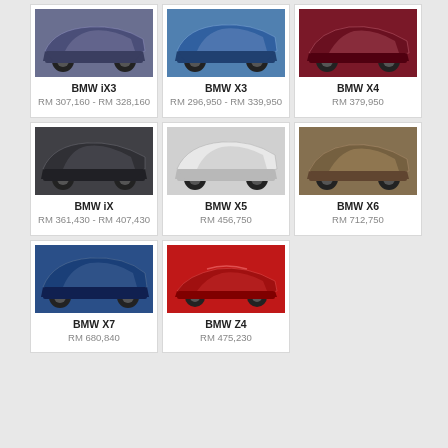[Figure (photo): BMW iX3 dark blue SUV]
BMW iX3
RM 307,160 - RM 328,160
[Figure (photo): BMW X3 blue SUV]
BMW X3
RM 296,950 - RM 339,950
[Figure (photo): BMW X4 dark red SUV coupe]
BMW X4
RM 379,950
[Figure (photo): BMW iX dark grey SUV]
BMW iX
RM 361,430 - RM 407,430
[Figure (photo): BMW X5 white SUV]
BMW X5
RM 456,750
[Figure (photo): BMW X6 gold/brown SUV coupe]
BMW X6
RM 712,750
[Figure (photo): BMW X7 blue large SUV]
BMW X7
RM 680,840
[Figure (photo): BMW Z4 red roadster convertible]
BMW Z4
RM 475,230